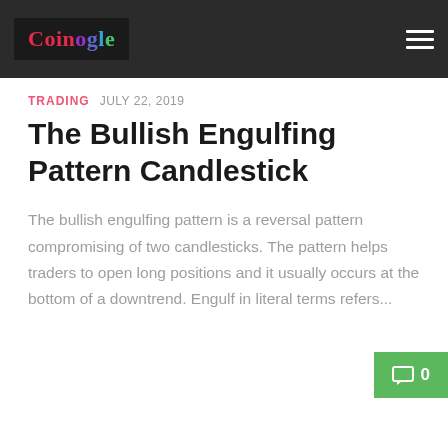Coinogle
TRADING  JULY 22, 2019
The Bullish Engulfing Pattern Candlestick
The bullish engulfing pattern is a reversal pattern compromising of two candlesticks. The pattern helps traders to open long positions and it usually occurs at the bottom of a downtrend. Engulf in literal terms refers...
0